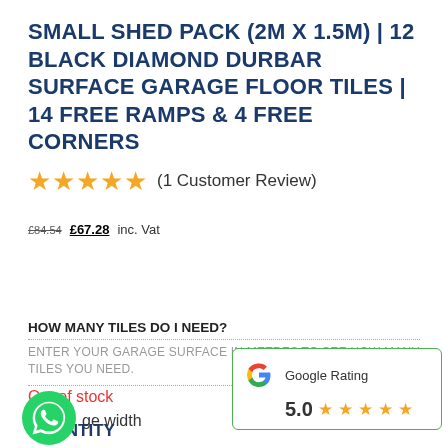SMALL SHED PACK (2M X 1.5M) | 12 BLACK DIAMOND DURBAR SURFACE GARAGE FLOOR TILES | 14 FREE RAMPS & 4 FREE CORNERS
★★★★★ (1 Customer Review)
£84.54  £67.28 inc. Vat
HOW MANY TILES DO I NEED?
ENTER YOUR GARAGE SURFACE IN METRES TO SEE HOW MANY TILES YOU NEED.
Out of stock
QUANTITY
ge width
[Figure (logo): WhatsApp green phone icon]
[Figure (infographic): Google Rating box showing 5.0 stars with Google G logo]